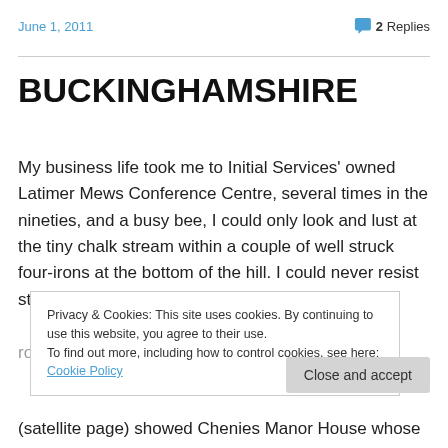June 1, 2011    💬 2 Replies
BUCKINGHAMSHIRE
My business life took me to Initial Services' owned Latimer Mews Conference Centre, several times in the nineties, and a busy bee, I could only look and lust at the tiny chalk stream within a couple of well struck four-irons at the bottom of the hill. I could never resist stopping next to the
Privacy & Cookies: This site uses cookies. By continuing to use this website, you agree to their use.
To find out more, including how to control cookies, see here: Cookie Policy
(satellite page) showed Chenies Manor House whose